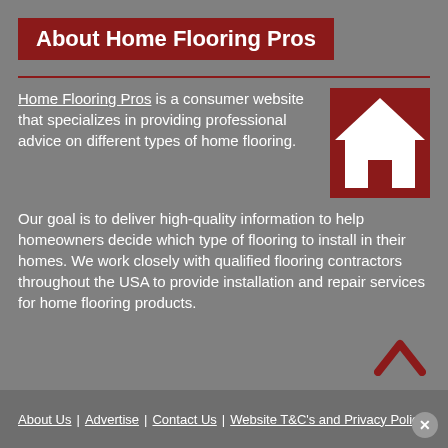About Home Flooring Pros
Home Flooring Pros is a consumer website that specializes in providing professional advice on different types of home flooring.
[Figure (illustration): House icon — white silhouette of a house on a dark red/maroon square background]
Our goal is to deliver high-quality information to help homeowners decide which type of flooring to install in their homes. We work closely with qualified flooring contractors throughout the USA to provide installation and repair services for home flooring products.
Our website is supported by advertising. To that end, we may be compensated with a small commission through affiliations with our endorsement, recommendation, testimonial, and/or link to any products or services from this website. Read our Terms of Use and Disclosures page for more information.
About Us | Advertise | Contact Us | Website T&C's and Privacy Policy